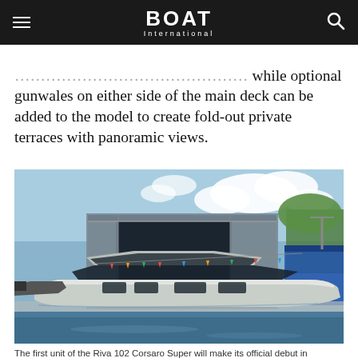BOAT International
...optional gunwales on either side of the main deck can be added to the model to create fold-out private terraces with panoramic views.
[Figure (photo): A large white motor yacht (Riva 102 Corsaro Super) on the water in front of a large industrial boat-building facility/shed, with a smaller yacht visible to the left, colorful pennant flags strung across the yard, and blue sky with clouds.]
The first unit of the Riva 102 Corsaro Super will make its official debut in September 2022 at the Cannes Yachting Festival · Credit: Ri...